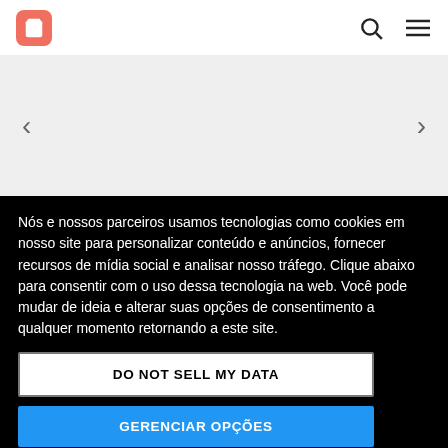Shopping cart icon, search icon, menu icon navigation bar
[Figure (screenshot): Slider navigation area with left and right arrow controls on a light gray background]
Nós e nossos parceiros usamos tecnologias como cookies em nosso site para personalizar conteúdo e anúncios, fornecer recursos de mídia social e analisar nosso tráfego. Clique abaixo para consentir com o uso dessa tecnologia na web. Você pode mudar de ideia e alterar suas opções de consentimento a qualquer momento retornando a este site.
DO NOT SELL MY DATA
GERENCIAR OPÇÕES
EU ACEITO
Powered by UniConsent